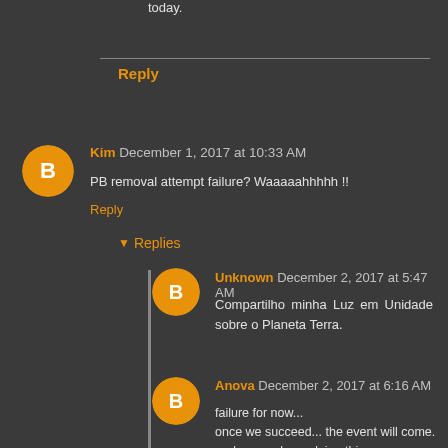today.
Reply
Kim December 1, 2017 at 10:33 AM
PB removal attempt failure? Waaaaahhhhh !!
Reply
Replies
Unknown December 2, 2017 at 5:47 AM
Compartilho minha Luz em Unidade sobre o Planeta Terra.
Anova December 2, 2017 at 6:16 AM
failure for now...
once we succeed... the event will come.
and we are keep doing this. many many times!